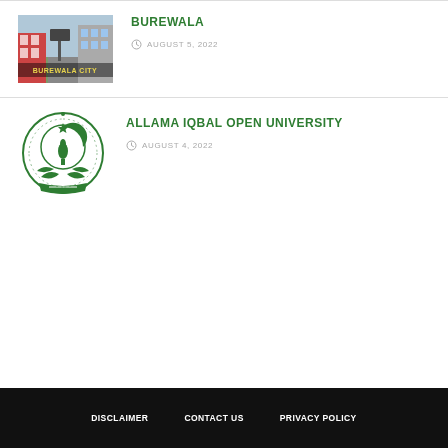[Figure (photo): Burewala City photo with text overlay 'BUREWALA CITY']
BUREWALA
AUGUST 5, 2022
[Figure (logo): Allama Iqbal Open University green circular emblem/crest logo]
ALLAMA IQBAL OPEN UNIVERSITY
AUGUST 4, 2022
DISCLAIMER   CONTACT US   PRIVACY POLICY